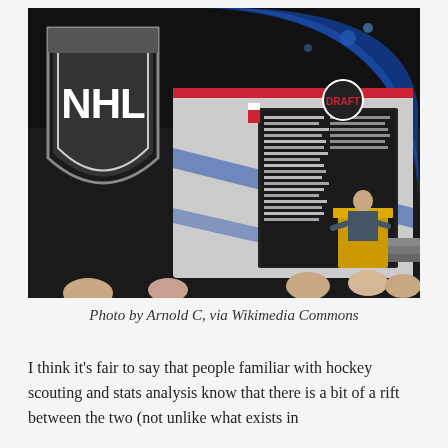[Figure (photo): NHL Draft event photo showing the large NHL shield logo on the left, a draft board with team names and player picks in the center-background, and people standing at a podium on the right. Arena seating visible in the background.]
Photo by Arnold C, via Wikimedia Commons
I think it's fair to say that people familiar with hockey scouting and stats analysis know that there is a bit of a rift between the two (not unlike what exists in